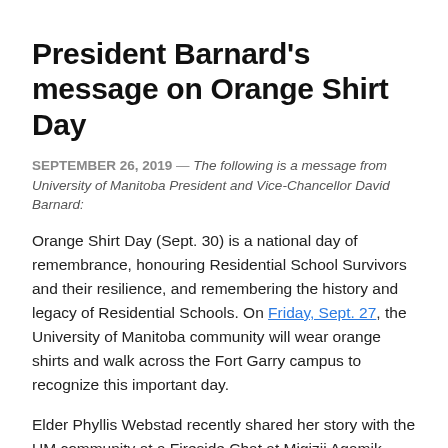President Barnard's message on Orange Shirt Day
SEPTEMBER 26, 2019 — The following is a message from University of Manitoba President and Vice-Chancellor David Barnard:
Orange Shirt Day (Sept. 30) is a national day of remembrance, honouring Residential School Survivors and their resilience, and remembering the history and legacy of Residential Schools. On Friday, Sept. 27, the University of Manitoba community will wear orange shirts and walk across the Fort Garry campus to recognize this important day.
Elder Phyllis Webstad recently shared her story with the UM community at a Fireside Chat at Migizii Agamik – Bald Eagle Lodge. She is the Survivor whose new orange shirt